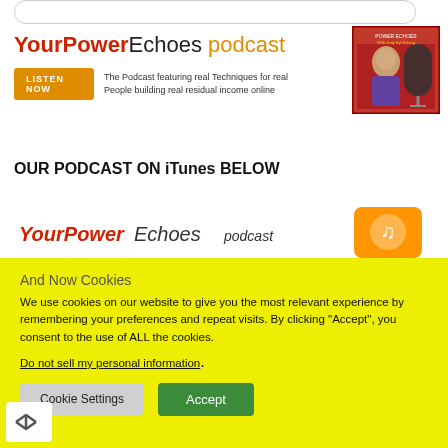[Figure (screenshot): Search bar at top of webpage]
YourPowerEchoes podcast
The Podcast featuring real Techniques for real People building real residual income online
[Figure (photo): Podcast cover image with woman and microphone, red border, text Power Echoes With Judy Syl Kulang]
OUR PODCAST ON iTunes BELOW
[Figure (screenshot): YourPowerEchoes podcast banner with iTunes icon]
And Now Cookies
We use cookies on our website to give you the most relevant experience by remembering your preferences and repeat visits. By clicking “Accept”, you consent to the use of ALL the cookies.
Do not sell my personal information.
Cookie Settings  Accept